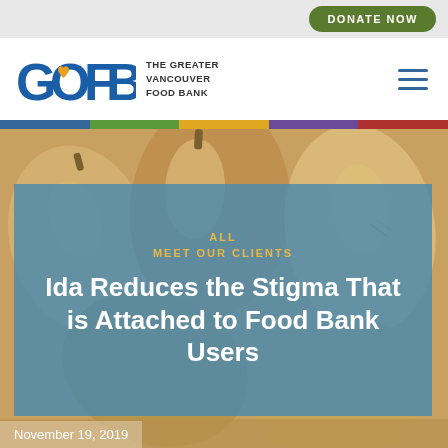DONATE NOW
[Figure (logo): Greater Vancouver Food Bank (GVFB) logo: GOFB text with heart in O, alongside text THE GREATER VANCOUVER FOOD BANK]
[Figure (photo): Butternut squash vegetables filling the background of the hero section]
ALL
MEET OUR CLIENTS
Ida Reduces the Stigma That is Attached to Food Bank Users
November 19, 2019